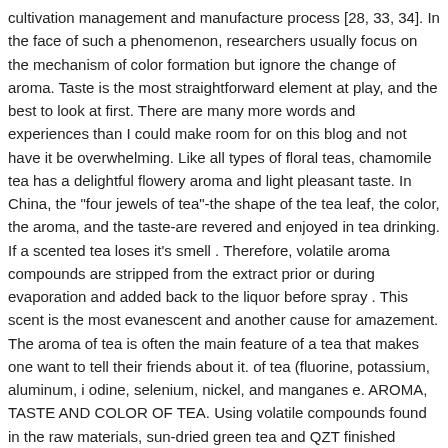cultivation management and manufacture process [28, 33, 34]. In the face of such a phenomenon, researchers usually focus on the mechanism of color formation but ignore the change of aroma. Taste is the most straightforward element at play, and the best to look at first. There are many more words and experiences than I could make room for on this blog and not have it be overwhelming. Like all types of floral teas, chamomile tea has a delightful flowery aroma and light pleasant taste. In China, the "four jewels of tea"-the shape of the tea leaf, the color, the aroma, and the taste-are revered and enjoyed in tea drinking. If a scented tea loses it's smell . Therefore, volatile aroma compounds are stripped from the extract prior or during evaporation and added back to the liquor before spray . This scent is the most evanescent and another cause for amazement. The aroma of tea is often the main feature of a tea that makes one want to tell their friends about it. of tea (fluorine, potassium, aluminum, i odine, selenium, nickel, and manganes e. AROMA, TASTE AND COLOR OF TEA. Using volatile compounds found in the raw materials, sun-dried green tea and QZT finished product were compared by orthogonal partial least square-discriminant analysis. It shows how a small sphere travels in a determined and rhythmical manner through